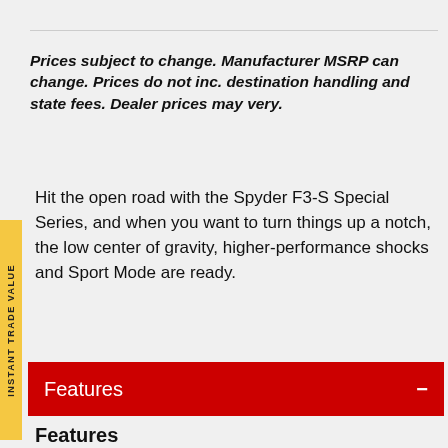Prices subject to change. Manufacturer MSRP can change. Prices do not inc. destination handling and state fees. Dealer prices may very.
Hit the open road with the Spyder F3-S Special Series, and when you want to turn things up a notch, the low center of gravity, higher-performance shocks and Sport Mode are ready.
Features
Features
RELAXED CRUISER ERGONOMICS: For short or long rides, comfort is everything. Riding in a relaxed position adjusted specifically for you with the UFit System ensures a more comfortable and enjoyable ride.
BOLD, MUSCULAR STYLING: Turn heads with a statement on wheels. With a muscular stance, your